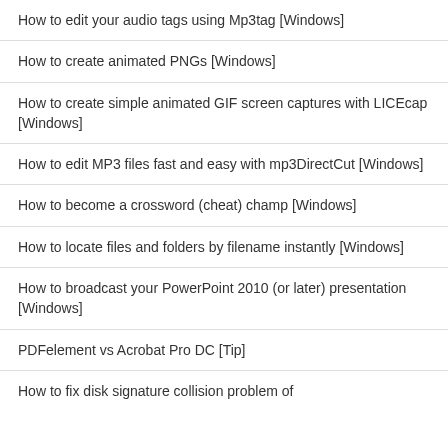How to edit your audio tags using Mp3tag [Windows]
How to create animated PNGs [Windows]
How to create simple animated GIF screen captures with LICEcap [Windows]
How to edit MP3 files fast and easy with mp3DirectCut [Windows]
How to become a crossword (cheat) champ [Windows]
How to locate files and folders by filename instantly [Windows]
How to broadcast your PowerPoint 2010 (or later) presentation [Windows]
PDFelement vs Acrobat Pro DC [Tip]
How to fix disk signature collision problem of